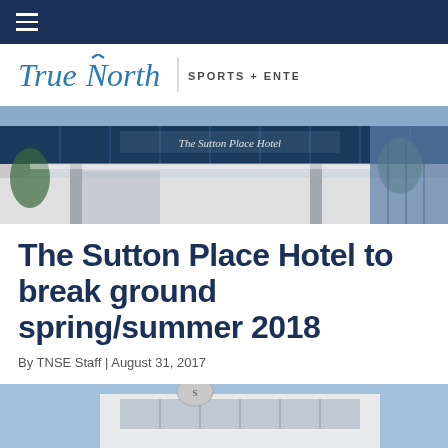≡ (navigation bar)
[Figure (logo): TrueNorth Sports + Entertainment logo with stylized N icon]
[Figure (photo): Exterior photo of The Sutton Place Hotel building with glass facade and signage]
The Sutton Place Hotel to break ground spring/summer 2018
By TNSE Staff | August 31, 2017
[Figure (photo): Partial photo of The Sutton Place Hotel building, bottom of page]